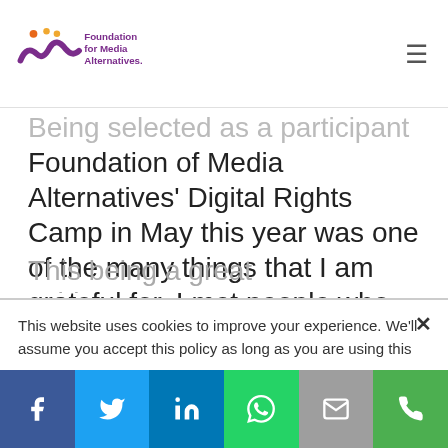Foundation for Media Alternatives
Being selected as a participant in the Foundation of Media Alternatives' Digital Rights Camp in May this year was one of the many things that I am grateful for. I met people who inspired me to believe in the greater good for the country despite the threats that gradually reduce our democracy and antagonize people's
This website uses cookies to improve your experience. We'll assume you accept this policy as long as you are using this
[Figure (infographic): Social media share bar with Facebook, Twitter, LinkedIn, WhatsApp, Email, and Phone icons]